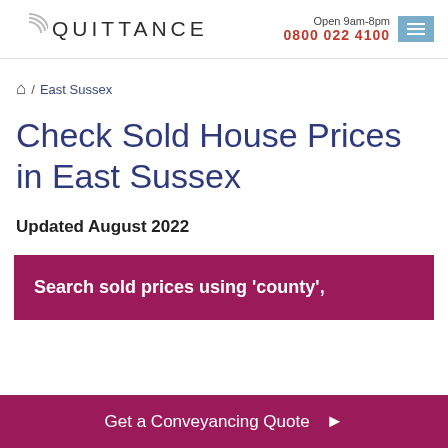QUITTANCE | Open 9am-8pm
🏠 / East Sussex
Check Sold House Prices in East Sussex
Updated August 2022
Search sold prices using 'county',
Get a Conveyancing Quote ▶